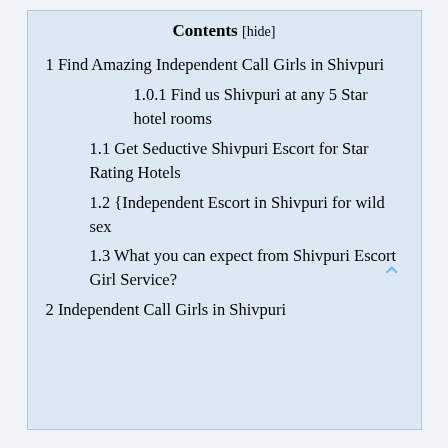Contents [hide]
1 Find Amazing Independent Call Girls in Shivpuri
1.0.1 Find us Shivpuri at any 5 Star hotel rooms
1.1 Get Seductive Shivpuri Escort for Star Rating Hotels
1.2 {Independent Escort in Shivpuri for wild sex
1.3 What you can expect from Shivpuri Escort Girl Service?
2 Independent Call Girls in Shivpuri